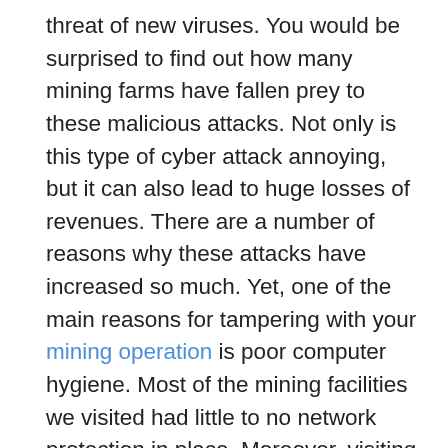threat of new viruses. You would be surprised to find out how many mining farms have fallen prey to these malicious attacks. Not only is this type of cyber attack annoying, but it can also lead to huge losses of revenues. There are a number of reasons why these attacks have increased so much. Yet, one of the main reasons for tampering with your mining operation is poor computer hygiene. Most of the mining facilities we visited had little to no network protection in place. Moreover, visiting malicious websites or downloading custom apps and firmware also majorly infecting these miners. This is why it is important that you understand the seriousness of these attacks and how you can protect yourself from them. It's up to you to know how to defend yourself and effectively eliminate these threats. Some hackers manage to earn more than 1 BTC per day just from viruses in other people's devices. You should keep reading to find out more.